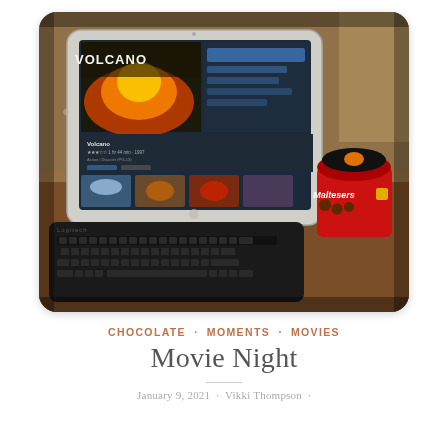[Figure (photo): A tablet showing the movie 'Volcano' on a streaming app, connected to a black Bluetooth keyboard, placed on a wooden table next to a red Maltesers chocolate box.]
CHOCOLATE · MOMENTS · MOVIES
Movie Night
January 9, 2021 · Vikki Thompson ·